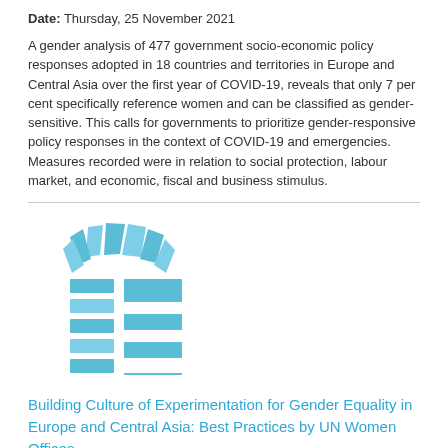Date: Thursday, 25 November 2021
A gender analysis of 477 government socio-economic policy responses adopted in 18 countries and territories in Europe and Central Asia over the first year of COVID-19, reveals that only 7 per cent specifically reference women and can be classified as gender-sensitive. This calls for governments to prioritize gender-responsive policy responses in the context of COVID-19 and emergencies. Measures recorded were in relation to social protection, labour market, and economic, fiscal and business stimulus.
[Figure (logo): UN Women logo in light blue]
Building Culture of Experimentation for Gender Equality in Europe and Central Asia: Best Practices by UN Women Offices
Date: Monday, 25 October 2021
This brief is a consolidation of some of the best practices introduced in 2020 across UN Women ECA offices on building a